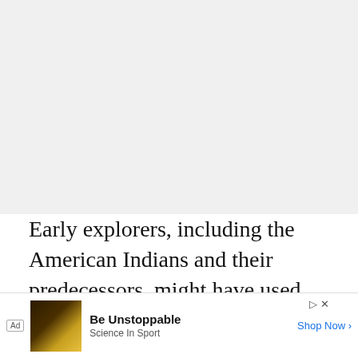[Figure (other): Large image area occupying upper portion of the page, light gray background placeholder]
Early explorers, including the American Indians and their predecessors, might have used the river canyon as their passage route or a travel corridor. The river allowed them free from the bison-filled plains…he
[Figure (other): Advertisement banner: 'Be Unstoppable' by Science in Sport with Shop Now button and ad thumbnail image]